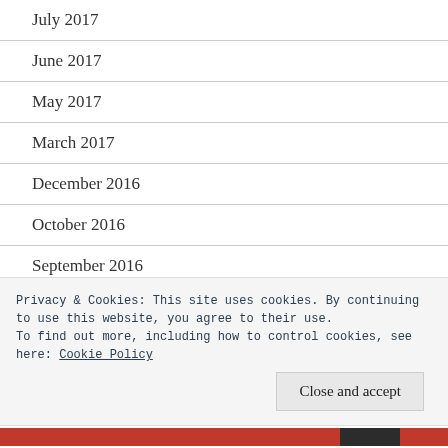July 2017
June 2017
May 2017
March 2017
December 2016
October 2016
September 2016
August 2016
Privacy & Cookies: This site uses cookies. By continuing to use this website, you agree to their use. To find out more, including how to control cookies, see here: Cookie Policy
Close and accept